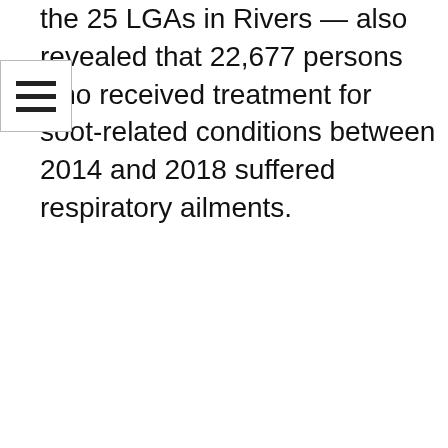the 25 LGAs in Rivers — also revealed that 22,677 persons who received treatment for soot-related conditions between 2014 and 2018 suffered respiratory ailments.